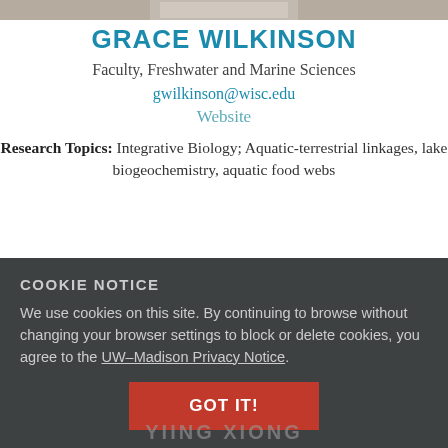[Figure (photo): Cropped photo strip of Grace Wilkinson at top of page]
GRACE WILKINSON
Faculty, Freshwater and Marine Sciences
gwilkinson@wisc.edu
Website
Research Topics: Integrative Biology; Aquatic-terrestrial linkages, lake biogeochemistry, aquatic food webs
COOKIE NOTICE
We use cookies on this site. By continuing to browse without changing your browser settings to block or delete cookies, you agree to the UW–Madison Privacy Notice.
GOT IT!
YIING XIONG